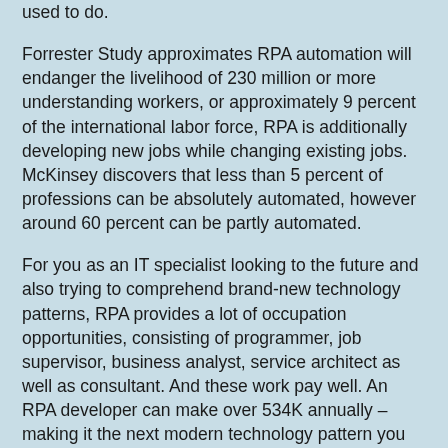used to do.
Forrester Study approximates RPA automation will endanger the livelihood of 230 million or more understanding workers, or approximately 9 percent of the international labor force, RPA is additionally developing new jobs while changing existing jobs. McKinsey discovers that less than 5 percent of professions can be absolutely automated, however around 60 percent can be partly automated.
For you as an IT specialist looking to the future and also trying to comprehend brand-new technology patterns, RPA provides a lot of occupation opportunities, consisting of programmer, job supervisor, business analyst, service architect as well as consultant. And these work pay well. An RPA developer can make over 534K annually – making it the next modern technology pattern you need to maintain a watch on!
3. Edge Computing.
For you as an icon...